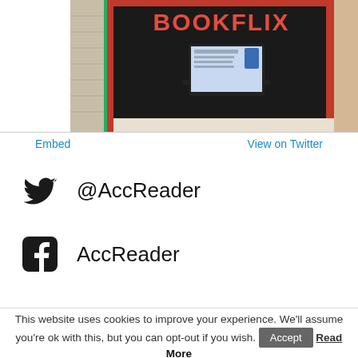[Figure (photo): Classroom bulletin board with 'BOOKFLIX' text in red on black background, with a laptop computer in front showing a website]
Embed
View on Twitter
@AccReader
AccReader
This website uses cookies to improve your experience. We'll assume you're ok with this, but you can opt-out if you wish. Accept Read More